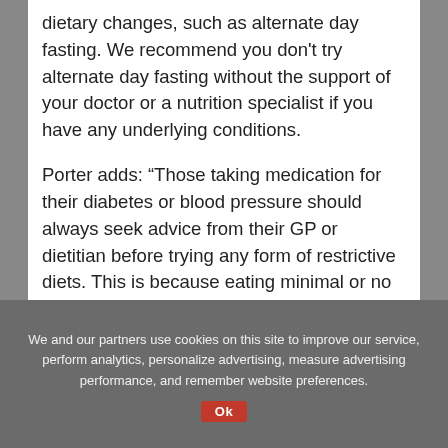dietary changes, such as alternate day fasting. We recommend you don't try alternate day fasting without the support of your doctor or a nutrition specialist if you have any underlying conditions.
Porter adds: “Those taking medication for their diabetes or blood pressure should always seek advice from their GP or dietitian before trying any form of restrictive diets. This is because eating minimal or no calories may work against these medications.”
We and our partners use cookies on this site to improve our service, perform analytics, personalize advertising, measure advertising performance, and remember website preferences.